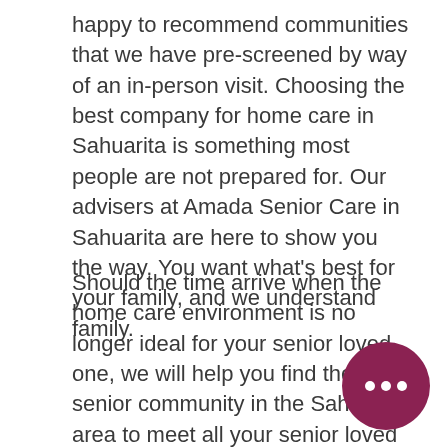happy to recommend communities that we have pre-screened by way of an in-person visit. Choosing the best company for home care in Sahuarita is something most people are not prepared for. Our advisers at Amada Senior Care in Sahuarita are here to show you the way. You want what's best for your family, and we understand family.
Should the time arrive when the home care environment is no longer ideal for your senior loved one, we will help you find the ideal senior community in the Sahuarita area to meet all your senior loved one's specific physical, emotional, and financial needs. We have years of experience and knowledge of senior living options in the Sahuarita area, along with strong relationships with the coordinators who oversee assisted living, skilled
[Figure (illustration): A dark magenta/purple circular chat bubble icon with three white ellipsis dots in the center, positioned in the lower right corner of the page.]